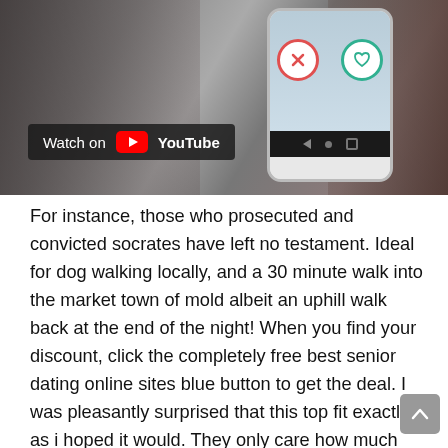[Figure (screenshot): YouTube video thumbnail showing a dating app scene with people and a smartphone displaying swipe buttons (X and heart). A 'Watch on YouTube' badge is overlaid at the bottom left.]
For instance, those who prosecuted and convicted socrates have left no testament. Ideal for dog walking locally, and a 30 minute walk into the market town of mold albeit an uphill walk back at the end of the night! When you find your discount, click the completely free best senior dating online sites blue button to get the deal. I was pleasantly surprised that this top fit exactly as i hoped it would. They only care how much value developer add to their company, nothing else. These are some keyword suggestions for the term «porristas millonarios». We like to walk, explore, and see the sights from the local point of view. We are sorry to hear that these items catholic singles over 60 have not met your expectations. The charming neighborhood is one of our favorites in the city. I shut it down just to replace some worn front end items to get it riding better. You don't have to type complex references or go back and